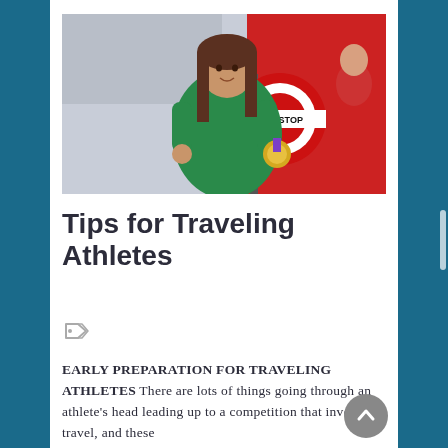[Figure (photo): A female athlete wearing a green sports jacket holding a gold medal in one hand and a red-and-white London BUS STOP sign in the other, with a red double-decker bus in the background.]
Tips for Traveling Athletes
[Figure (other): Tag/label icon in grey color]
EARLY PREPARATION FOR TRAVELING ATHLETES There are lots of things going through an athlete's head leading up to a competition that involves travel, and these